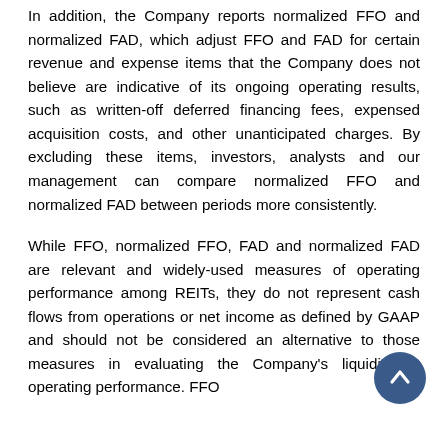In addition, the Company reports normalized FFO and normalized FAD, which adjust FFO and FAD for certain revenue and expense items that the Company does not believe are indicative of its ongoing operating results, such as written-off deferred financing fees, expensed acquisition costs, and other unanticipated charges. By excluding these items, investors, analysts and our management can compare normalized FFO and normalized FAD between periods more consistently.
While FFO, normalized FFO, FAD and normalized FAD are relevant and widely-used measures of operating performance among REITs, they do not represent cash flows from operations or net income as defined by GAAP and should not be considered an alternative to those measures in evaluating the Company's liquidity or operating performance. FFO